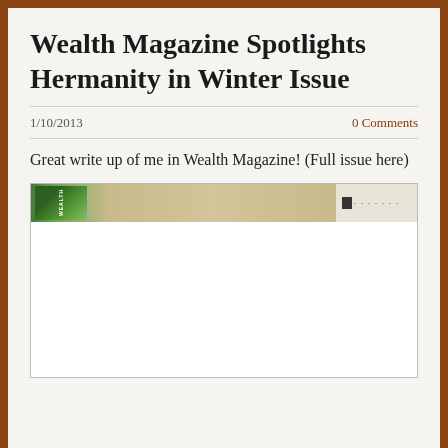Wealth Magazine Spotlights Hermanity in Winter Issue
1/10/2013   0 Comments
Great write up of me in Wealth Magazine! (Full issue here)
[Figure (screenshot): Embedded magazine viewer showing the cover/header of Wealth Magazine winter issue with a green foliage image on the left and beige background, with a small dark square icon and dashed dots on the right side.]